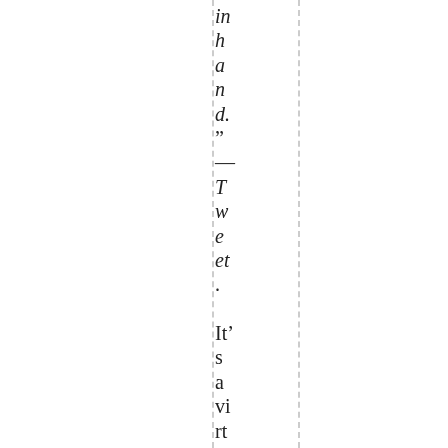in hand." — Tweet. It's a virtual mob, not an infor